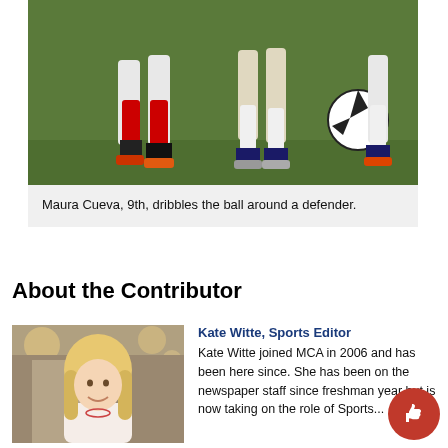[Figure (photo): Soccer players' legs and feet dribbling a soccer ball on a grass field, players wearing red and white socks and cleats]
Maura Cueva, 9th, dribbles the ball around a defender.
About the Contributor
[Figure (photo): Headshot of a young blonde woman smiling, wearing a light pink top, outdoors with blurred background lights]
Kate Witte, Sports Editor
Kate Witte joined MCA in 2006 and has been here since. She has been on the newspaper staff since freshman year but is now taking on the role of Sports...